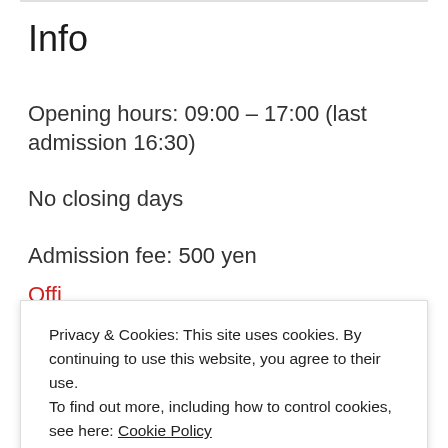Info
Opening hours: 09:00 – 17:00 (last admission 16:30)
No closing days
Admission fee: 500 yen
Official website
Privacy & Cookies: This site uses cookies. By continuing to use this website, you agree to their use.
To find out more, including how to control cookies, see here: Cookie Policy
CLOSE AND ACCEPT